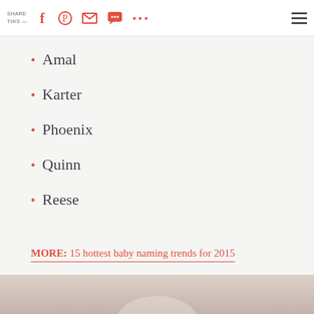SHARE THIS —
Amal
Karter
Phoenix
Quinn
Reese
MORE: 15 hottest baby naming trends for 2015
[Figure (photo): Bottom of page photo strip showing blurred/soft background image, appears to be a baby-related photo]